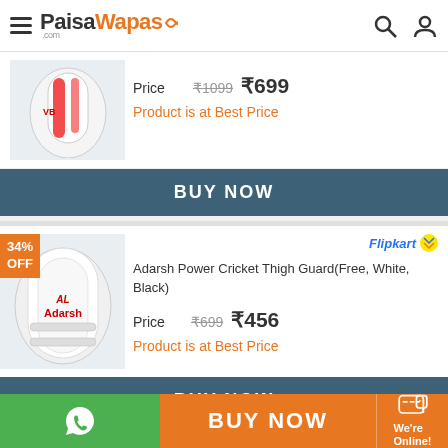PaisaWapas.com
Price ₹1099 ₹699
Product is at Best Price
BUY NOW
34% OFF
Flipkart
Adarsh Power Cricket Thigh Guard(Free, White, Black)
Price ₹699 ₹456
Product is at Best Price
BUY NOW
BUY NOW
We're Online!